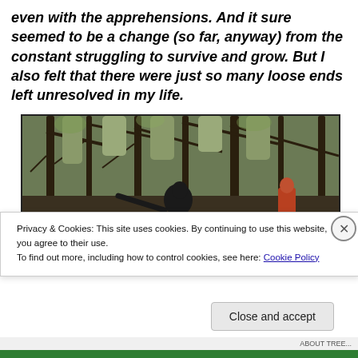even with the apprehensions. And it sure seemed to be a change (so far, anyway) from the constant struggling to survive and grow. But I also felt that there were just so many loose ends left unresolved in my life.
[Figure (photo): A person in dark clothing in a forest with bare trees and branches, with another figure in red/orange visible to the right. Outdoor autumn/winter scene.]
Privacy & Cookies: This site uses cookies. By continuing to use this website, you agree to their use.
To find out more, including how to control cookies, see here: Cookie Policy
Close and accept